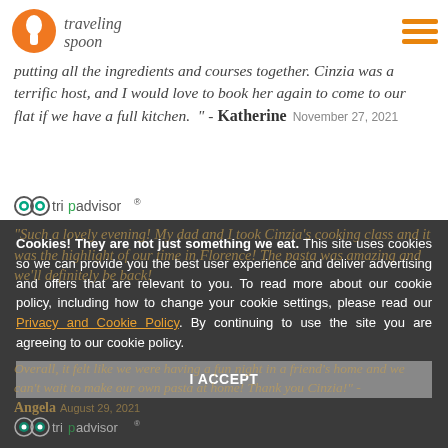Traveling Spoon
putting all the ingredients and courses together. Cinzia was a terrific host, and I would love to book her again to come to our flat if we have a full kitchen. " - Katherine November 27, 2021
[Figure (logo): TripAdvisor logo]
Cookies! They are not just something we eat. This site uses cookies so we can provide you the best user experience and deliver advertising and offers that are relevant to you. To read more about our cookie policy, including how to change your cookie settings, please read our Privacy and Cookie Policy. By continuing to use the site you are agreeing to our cookie policy.
I ACCEPT
Overall, it felt like we were having a fun night in a friend's home and we can't wait to make our own pasta at home! Thank you Cinzia! " - Angela August 29, 2021
[Figure (logo): TripAdvisor logo]